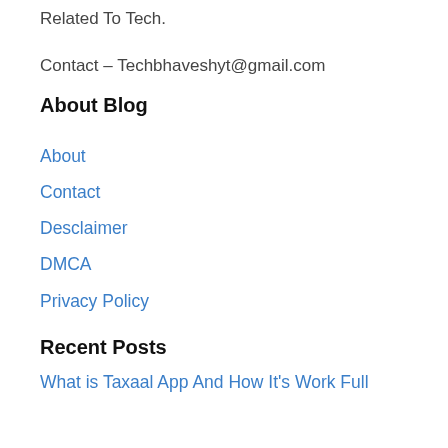Related To Tech.
Contact – Techbhaveshyt@gmail.com
About Blog
About
Contact
Desclaimer
DMCA
Privacy Policy
Recent Posts
What is Taxaal App And How It's Work Full